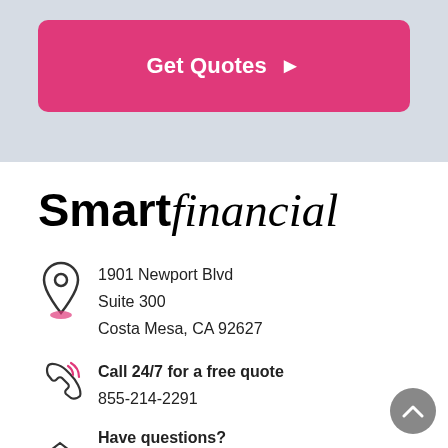[Figure (other): Pink 'Get Quotes' button with right-pointing arrow on a light gray banner background]
[Figure (logo): SmartFinancial logo — 'Smart' in bold black sans-serif, 'financial' in italic serif script]
1901 Newport Blvd
Suite 300
Costa Mesa, CA 92627
Call 24/7 for a free quote
855-214-2291
Have questions?